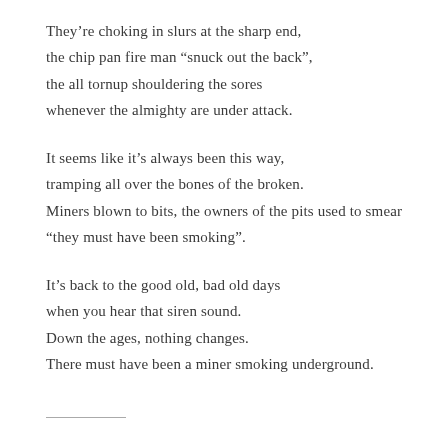They're choking in slurs at the sharp end,
the chip pan fire man “snuck out the back”,
the all tornup shouldering the sores
whenever the almighty are under attack.
It seems like it’s always been this way,
tramping all over the bones of the broken.
Miners blown to bits, the owners of the pits used to smear
“they must have been smoking”.
It’s back to the good old, bad old days
when you hear that siren sound.
Down the ages, nothing changes.
There must have been a miner smoking underground.